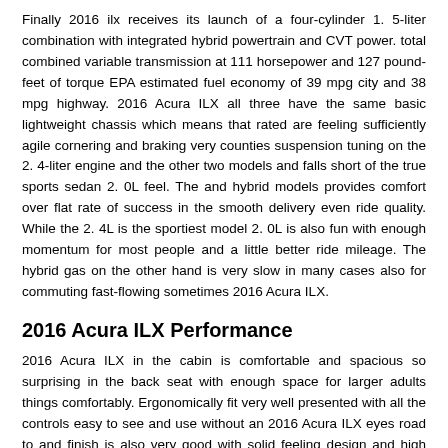Finally 2016 ilx receives its launch of a four-cylinder 1. 5-liter combination with integrated hybrid powertrain and CVT power. total combined variable transmission at 111 horsepower and 127 pound-feet of torque EPA estimated fuel economy of 39 mpg city and 38 mpg highway. 2016 Acura ILX all three have the same basic lightweight chassis which means that rated are feeling sufficiently agile cornering and braking very counties suspension tuning on the 2. 4-liter engine and the other two models and falls short of the true sports sedan 2. 0L feel. The and hybrid models provides comfort over flat rate of success in the smooth delivery even ride quality. While the 2. 4L is the sportiest model 2. 0L is also fun with enough momentum for most people and a little better ride mileage. The hybrid gas on the other hand is very slow in many cases also for commuting fast-flowing sometimes 2016 Acura ILX.
2016 Acura ILX Performance
2016 Acura ILX in the cabin is comfortable and spacious so surprising in the back seat with enough space for larger adults things comfortably. Ergonomically fit very well presented with all the controls easy to see and use without an 2016 Acura ILX eyes road to and finish is also very good with solid feeling design and high quality materials rubber plastic and leather in all touch points. Cabin noise is low but it was not the silent tomb can be found in some luxury cars a little further on the scale Acura ILX including 2016 own. There is also quite spacious master plenty of storage space in the cabin in cabins and door compartments with cup holders well placed volume. Cargo is a solid 12. 4 cubic feet to 10. 0 cubic feet hybrid battery the rear seats. Visibility is well